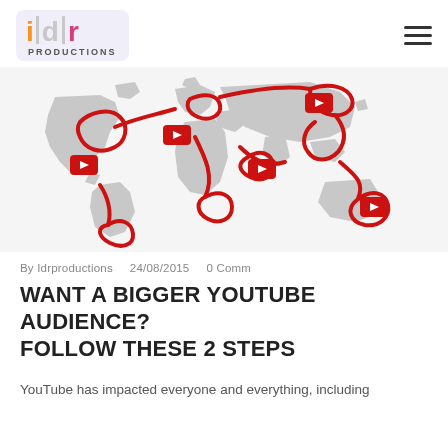idr PRODUCTIONS
[Figure (illustration): World map with red YouTube play button icons connected by red curving lines/cables across continents, representing global YouTube reach]
By Idrproductions   24/08/2015   0 Comm
WANT A BIGGER YOUTUBE AUDIENCE? FOLLOW THESE 2 STEPS
YouTube has impacted everyone and everything, including